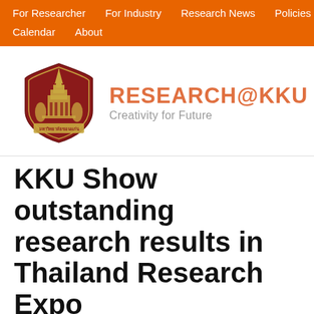For Researcher  For Industry  Research News  Policies  Calendar  About
[Figure (logo): KKU university crest/shield logo in dark red with temple and mythical figures]
RESEARCH@KKU Creativity for Future
11 DEC 2021
KKU Show outstanding research results in Thailand Research Expo